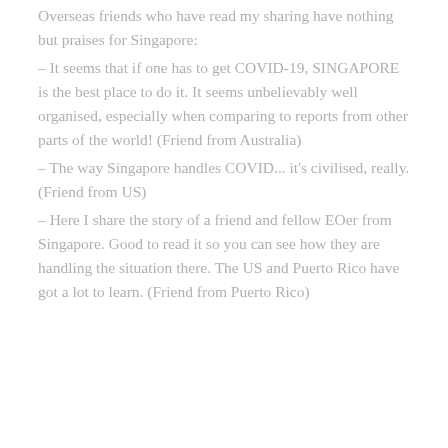Overseas friends who have read my sharing have nothing but praises for Singapore:
– It seems that if one has to get COVID-19, SINGAPORE is the best place to do it. It seems unbelievably well organised, especially when comparing to reports from other parts of the world! (Friend from Australia)
– The way Singapore handles COVID... it's civilised, really. (Friend from US)
– Here I share the story of a friend and fellow EOer from Singapore. Good to read it so you can see how they are handling the situation there. The US and Puerto Rico have got a lot to learn. (Friend from Puerto Rico)